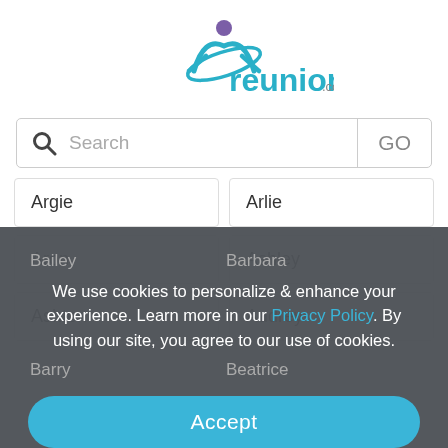[Figure (logo): reunion.com logo with teal text and purple/teal figure icon]
[Figure (screenshot): Search bar with magnifying glass icon and GO button]
Argie
Arlie
Aron
Ashley
Ashton
Audrey
We use cookies to personalize & enhance your experience. Learn more in our Privacy Policy. By using our site, you agree to our use of cookies.
Bailey
Barbara
Barry
Beatrice
Accept